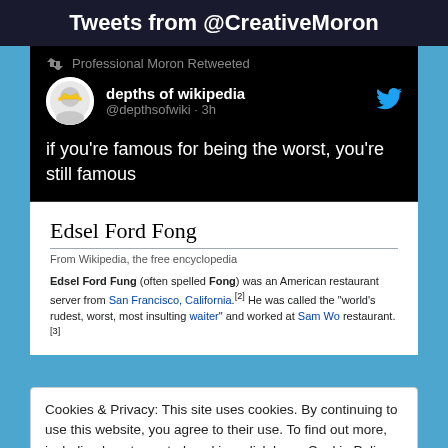Tweets from @CreativeMoron
Professional Moron Retweeted
depths of wikipedia @depthsofwiki · 3h
if you're famous for being the worst, you're still famous
Edsel Ford Fong
From Wikipedia, the free encyclopedia
Edsel Ford Fung (often spelled Fong) was an American restaurant server from San Francisco, California.[2] He was called the "world's rudest, worst, most insulting waiter" and worked at Sam Wo restaurant.[3]
Cookies & Privacy: This site uses cookies. By continuing to use this website, you agree to their use. To find out more, including how to control cookies, click here: Cookie Policy
Accept & Close